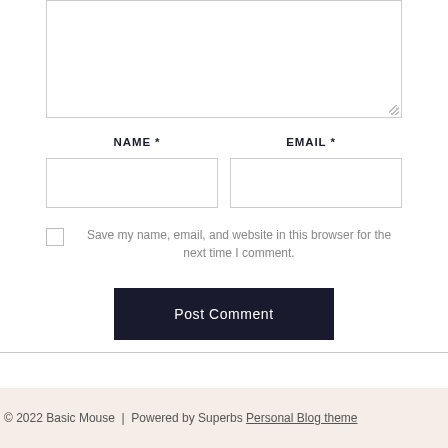[Figure (screenshot): Textarea input box (comment field) with resize handle at bottom right]
NAME *
EMAIL *
[Figure (screenshot): Name text input field]
[Figure (screenshot): Email text input field]
Save my name, email, and website in this browser for the next time I comment.
Post Comment
© 2022 Basic Mouse | Powered by Superbs Personal Blog theme